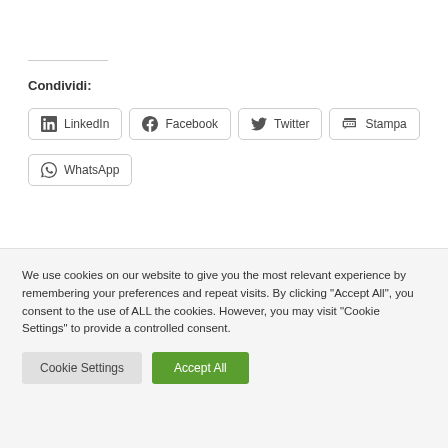Condividi:
[Figure (other): Social share buttons: LinkedIn, Facebook, Twitter, Stampa, WhatsApp]
We use cookies on our website to give you the most relevant experience by remembering your preferences and repeat visits. By clicking "Accept All", you consent to the use of ALL the cookies. However, you may visit "Cookie Settings" to provide a controlled consent.
Cookie Settings | Accept All